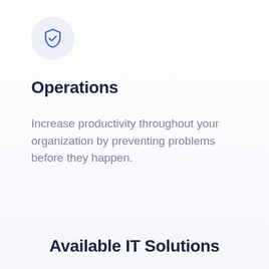[Figure (illustration): Blue shield with checkmark icon inside a light blue-grey circular background]
Operations
Increase productivity throughout your organization by preventing problems before they happen.
Available IT Solutions